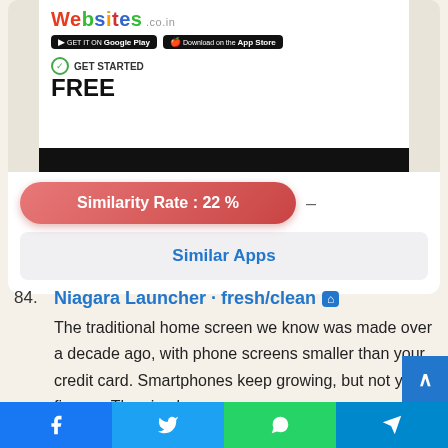[Figure (screenshot): App store listing screenshot showing Websites.co.in app with GET STARTED FREE text, Google Play and App Store buttons, and a businessman illustration against a dark bottom bar]
Similarity Rate : 22 %
Similar Apps
84. Niagara Launcher · fresh/clean
The traditional home screen we know was made over a decade ago, with phone screens smaller than your credit card. Smartphones keep growing, but not your fingers. The simple
Facebook · Twitter · WhatsApp · Telegram